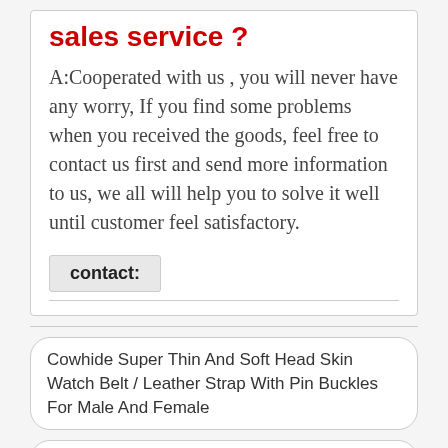sales service ?
A:Cooperated with us , you will never have any worry, If you find some problems when you received the goods, feel free to contact us first and send more information to us, we all will help you to solve it well until customer feel satisfactory.
contact:
Cowhide Super Thin And Soft Head Skin Watch Belt / Leather Strap With Pin Buckles For Male And Female
High Quality Cowhide Super Thin And Soft Head Skin